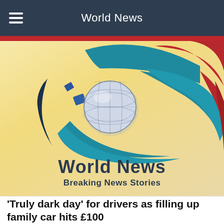World News
[Figure (logo): World News logo — a globe surrounded by teal and dark red swooping curved shapes, with scattered blue rectangles, on a golden gradient background. Below the graphic: 'World News' in bold dark blue, and 'Breaking News Stories' in bold dark blue beneath.]
'Truly dark day' for drivers as filling up family car hits £100